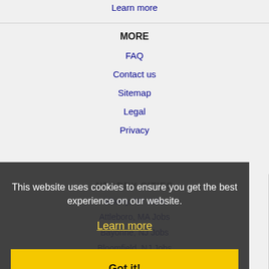Learn more
MORE
FAQ
Contact us
Sitemap
Legal
Privacy
NEARBY CITIES
Albany, NY Jobs
Attleboro, MA Jobs
Bayonne, NJ Jobs
Bloomfield, NJ Jobs
Brentwood, NY Jobs
Bridgeport, CT Jobs
This website uses cookies to ensure you get the best experience on our website.
Learn more
Got it!